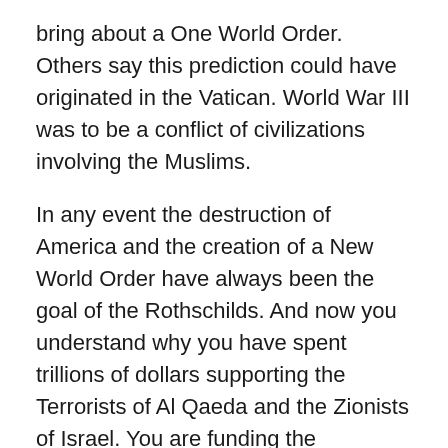bring about a One World Order. Others say this prediction could have originated in the Vatican. World War III was to be a conflict of civilizations involving the Muslims.
In any event the destruction of America and the creation of a New World Order have always been the goal of the Rothschilds. And now you understand why you have spent trillions of dollars supporting the Terrorists of Al Qaeda and the Zionists of Israel. You are funding the destruction of your nation. Now you can connect all the dots.
Now you know all world wars are Rothschild wars.
Related Articles:
Video: GMO Ticking Time Bomb, The Bankers Want You Sterilized And Then Dead